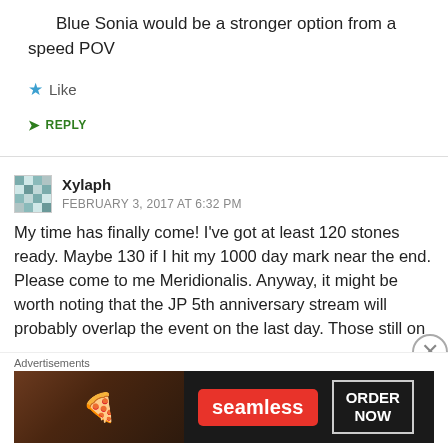Blue Sonia would be a stronger option from a speed POV
★ Like
➤ REPLY
Xylaph
FEBRUARY 3, 2017 AT 6:32 PM
My time has finally come! I've got at least 120 stones ready. Maybe 130 if I hit my 1000 day mark near the end. Please come to me Meridionalis. Anyway, it might be worth noting that the JP 5th anniversary stream will probably overlap the event on the last day. Those still on
Advertisements
[Figure (screenshot): Seamless food delivery advertisement banner showing pizza image on left, Seamless logo in red, and ORDER NOW button on right against dark background]